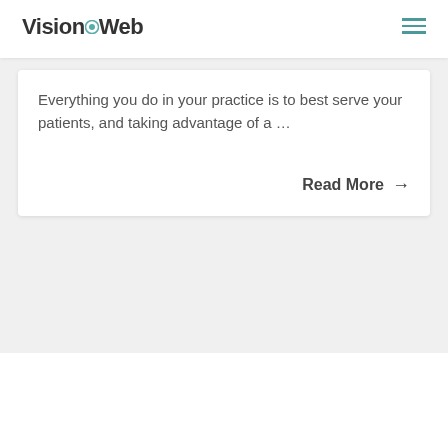VisionWeb
Everything you do in your practice is to best serve your patients, and taking advantage of a …
Read More →